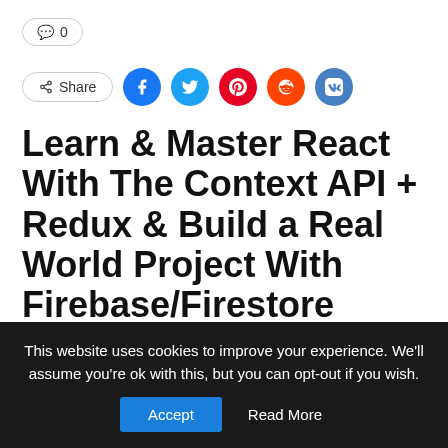[Figure (other): Comment count badge showing speech bubble icon and 0]
[Figure (other): Share button and social media icons: Facebook, Twitter, Pinterest, Reddit, VK]
Learn & Master React With The Context API + Redux & Build a Real World Project With Firebase/Firestore
What Will I Learn?
Master React Concepts – Components, State, Props, etc
This website uses cookies to improve your experience. We'll assume you're ok with this, but you can opt-out if you wish.